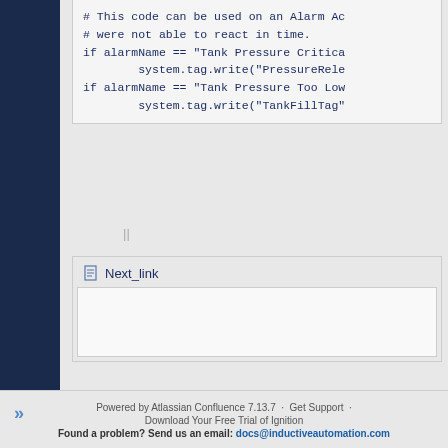[Figure (screenshot): Code block showing Python/Jython script for alarm actions. Lines include comments and if-statements checking alarmName for Tank Pressure Critical and Tank Pressure Too Low conditions, with system.tag.write calls.]
Next_link
Powered by Atlassian Confluence 7.13.7 · Get Support · Download Your Free Trial of Ignition Found a problem? Send us an email: docs@inductiveautomation.com